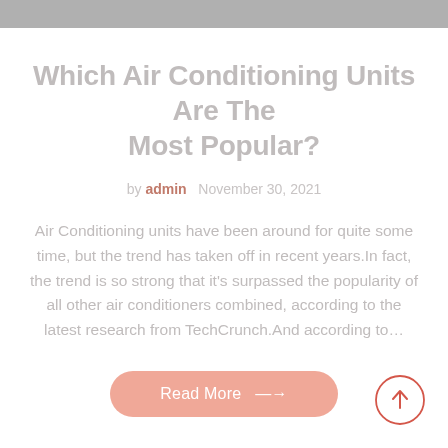Which Air Conditioning Units Are The Most Popular?
by admin  November 30, 2021
Air Conditioning units have been around for quite some time, but the trend has taken off in recent years.In fact, the trend is so strong that it's surpassed the popularity of all other air conditioners combined, according to the latest research from TechCrunch.And according to…
Read More →